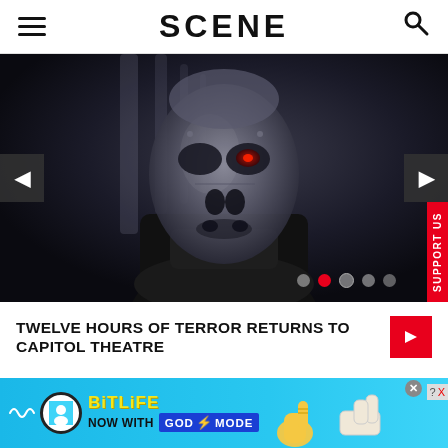SCENE
[Figure (photo): Hero image of a person in a metallic alien mask/helmet in a dark sci-fi setting, with navigation arrows on left and right and carousel dots at bottom right. A red 'SUPPORT US' tab on the right edge.]
TWELVE HOURS OF TERROR RETURNS TO CAPITOL THEATRE
[Figure (infographic): Advertisement banner for BitLife mobile app featuring 'NOW WITH GOD MODE' text on a light blue background with cartoon thumbs-up hand graphics.]